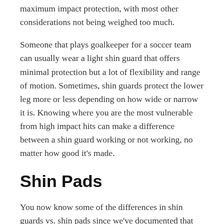maximum impact protection, with most other considerations not being weighed too much.
Someone that plays goalkeeper for a soccer team can usually wear a light shin guard that offers minimal protection but a lot of flexibility and range of motion. Sometimes, shin guards protect the lower leg more or less depending on how wide or narrow it is. Knowing where you are the most vulnerable from high impact hits can make a difference between a shin guard working or not working, no matter how good it's made.
Shin Pads
You now know some of the differences in shin guards vs. shin pads since we've documented that shin pads are an integral part of the shin guards.